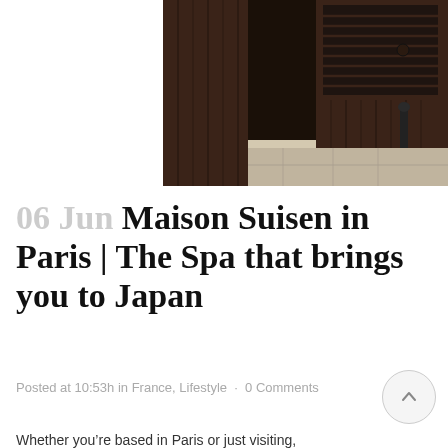[Figure (photo): Exterior of a Japanese-style building with dark wood paneling, an open doorway, stone pavement, and a black iron pole. The facade shows wooden louvers and dark architectural details.]
06 Jun Maison Suisen in Paris | The Spa that brings you to Japan
Posted at 10:53h in France, Lifestyle · 0 Comments
Whether you're based in Paris or just visiting,